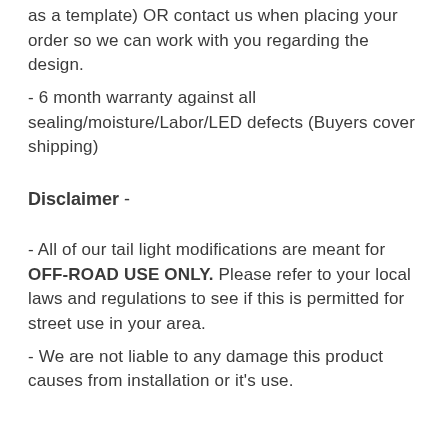as a template) OR contact us when placing your order so we can work with you regarding the design.
- 6 month warranty against all sealing/moisture/Labor/LED defects (Buyers cover shipping)
Disclaimer -
- All of our tail light modifications are meant for OFF-ROAD USE ONLY. Please refer to your local laws and regulations to see if this is permitted for street use in your area.
- We are not liable to any damage this product causes from installation or it's use.